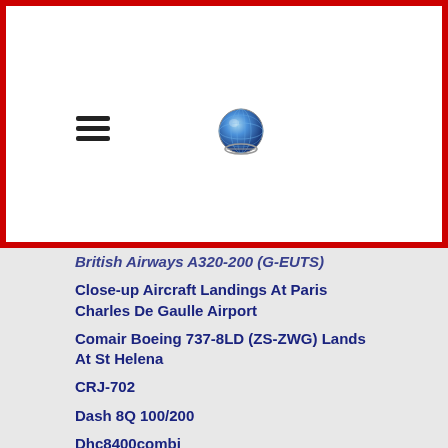Navigation header with hamburger menu and globe icon
British Airways A320-200 (G-EUTS)
Close-up Aircraft Landings At Paris Charles De Gaulle Airport
Comair Boeing 737-8LD (ZS-ZWG) Lands At St Helena
CRJ-702
Dash 8Q 100/200
Dhc8400combi
DHC 8 Q100/200
Dhc8q300
DHC 8 Q300
DHC 8 Q400
DHC-8-Q400
DHC-Twin Otter
Dornier 328-100
Ehiopian Boeing 787 Dreamliner (ET-AOS)
Embraer 175STD
Embraer 195LR
Embraer E170
Embraer E190
Embraer ERJ-135